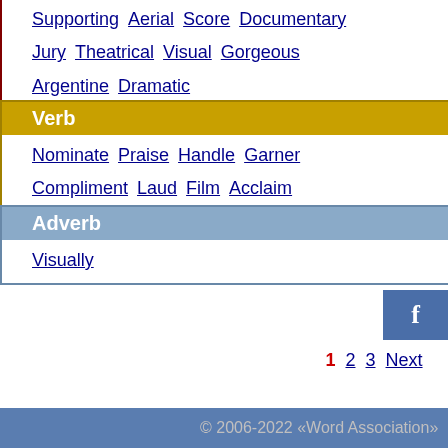Supporting  Aerial  Score  Documentary
Jury  Theatrical  Visual  Gorgeous
Argentine  Dramatic
Verb
Nominate  Praise  Handle  Garner
Compliment  Laud  Film  Acclaim
Adverb
Visually
1  2  3  Next
© 2006-2022 «Word Association»